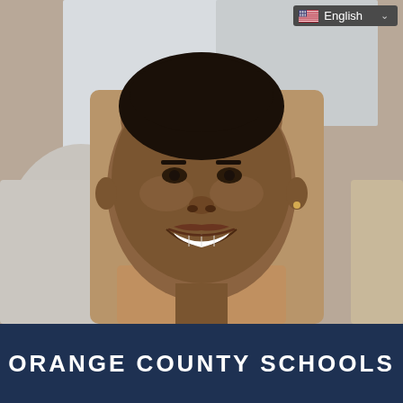[Figure (photo): A smiling woman with short hair, wearing a tan/beige top, photographed indoors with pillows and windows visible in the background. A language selector UI overlay shows 'English' with a US flag in the top-right corner of the image.]
ORANGE COUNTY SCHOOLS